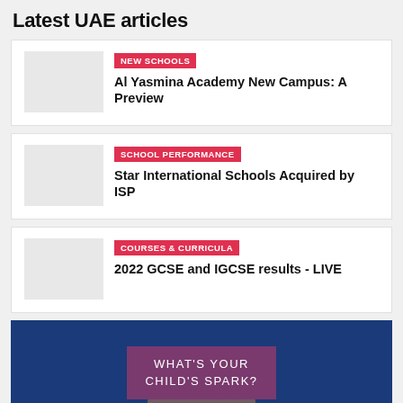Latest UAE articles
NEW SCHOOLS — Al Yasmina Academy New Campus: A Preview
SCHOOL PERFORMANCE — Star International Schools Acquired by ISP
COURSES & CURRICULA — 2022 GCSE and IGCSE results - LIVE
[Figure (illustration): Advertisement banner with blue background showing text 'WHAT'S YOUR CHILD'S SPARK?' in a purple/maroon box, with a partial face visible at the bottom]